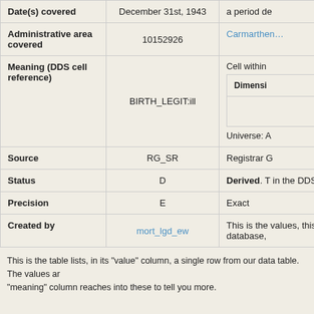| Field | Value | Meaning |
| --- | --- | --- |
| Date(s) covered | December 31st, 1943 | a period de… |
| Administrative area covered | 10152926 | Carmarthen… |
| Meaning (DDS cell reference) | BIRTH_LEGIT:ill | Cell within…
Dimensi…
Universe: A… |
| Source | RG_SR | Registrar G… |
| Status | D | Derived. T… in the DDS… |
| Precision | E | Exact |
| Created by | mort_lgd_ew | This is the… values, this… database,… |
This table lists, in its "value" column, a single row from our data table. The values ar… "meaning" column reaches into these to tell you more.